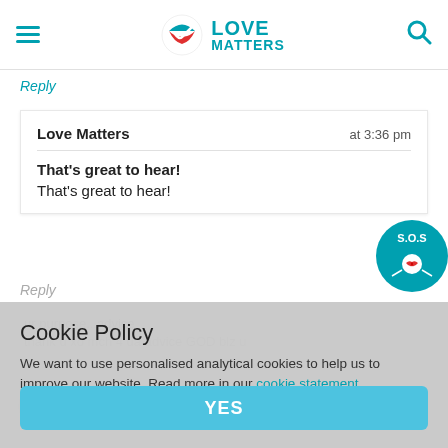Love Matters
Reply
Love Matters   at 3:36 pm
That's great to hear!
That's great to hear!
Cookie Policy
We want to use personalised analytical cookies to help us to improve our website. Read more in our cookie statement
YES